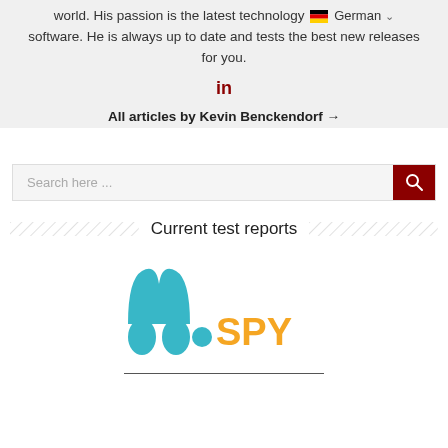world. His passion is the latest technology software. He is always up to date and tests the best new releases for you.
[Figure (logo): LinkedIn 'in' icon in dark red]
All articles by Kevin Benckendorf →
Search here ...
Current test reports
[Figure (logo): mSpy logo with teal footprints icon and orange SPY text]